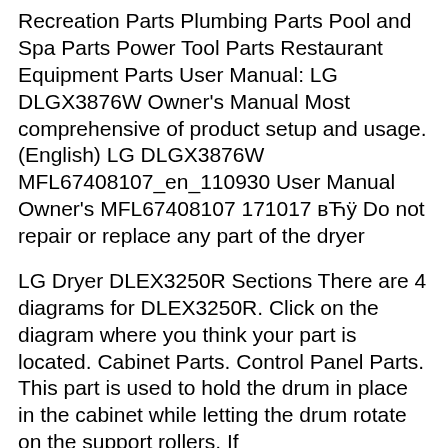Recreation Parts Plumbing Parts Pool and Spa Parts Power Tool Parts Restaurant Equipment Parts User Manual: LG DLGX3876W Owner's Manual Most comprehensive of product setup and usage. (English) LG DLGX3876W MFL67408107_en_110930 User Manual Owner's MFL67408107 171017 вЋÿ Do not repair or replace any part of the dryer
LG Dryer DLEX3250R Sections There are 4 diagrams for DLEX3250R. Click on the diagram where you think your part is located. Cabinet Parts. Control Panel Parts. This part is used to hold the drum in place in the cabinet while letting the drum rotate on the support rollers. If